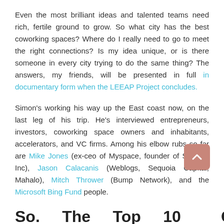Even the most brilliant ideas and talented teams need rich, fertile ground to grow. So what city has the best coworking spaces? Where do I really need to go to meet the right connections? Is my idea unique, or is there someone in every city trying to do the same thing? The answers, my friends, will be presented in full in documentary form when the LEEAP Project concludes.
Simon's working his way up the East coast now, on the last leg of his trip. He's interviewed entrepreneurs, investors, coworking space owners and inhabitants, accelerators, and VC firms. Among his elbow rubs so far are Mike Jones (ex-ceo of Myspace, founder of Science Inc), Jason Calacanis (Weblogs, Sequoia Capital, Mahalo), Mitch Thrower (Bump Network), and the Microsoft Bing Fund people.
So. The Top 10 Cities for Startups in America?